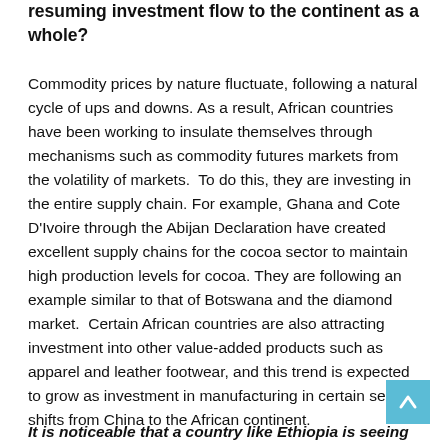resuming investment flow to the continent as a whole?
Commodity prices by nature fluctuate, following a natural cycle of ups and downs. As a result, African countries have been working to insulate themselves through mechanisms such as commodity futures markets from the volatility of markets.  To do this, they are investing in the entire supply chain. For example, Ghana and Cote D'Ivoire through the Abijan Declaration have created excellent supply chains for the cocoa sector to maintain high production levels for cocoa. They are following an example similar to that of Botswana and the diamond market.  Certain African countries are also attracting investment into other value-added products such as apparel and leather footwear, and this trend is expected to grow as investment in manufacturing in certain sectors shifts from China to the African continent.
It is noticeable that a country like Ethiopia is seeing a big